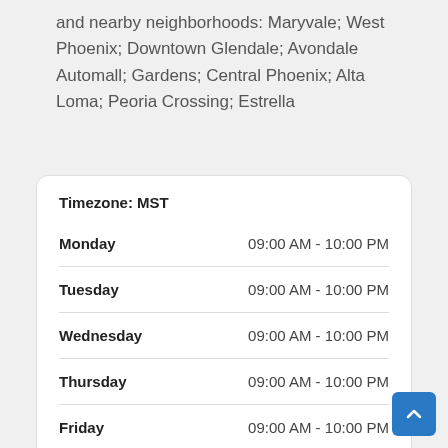and nearby neighborhoods: Maryvale; West Phoenix; Downtown Glendale; Avondale Automall; Gardens; Central Phoenix; Alta Loma; Peoria Crossing; Estrella
| Day | Hours |
| --- | --- |
| Monday | 09:00 AM - 10:00 PM |
| Tuesday | 09:00 AM - 10:00 PM |
| Wednesday | 09:00 AM - 10:00 PM |
| Thursday | 09:00 AM - 10:00 PM |
| Friday | 09:00 AM - 10:00 PM |
| Saturday | 09:00 AM - 10:00 PM |